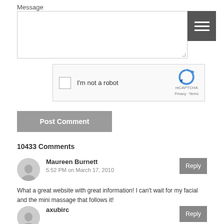Message
[Figure (screenshot): Textarea input field for message]
[Figure (screenshot): reCAPTCHA widget with checkbox 'I'm not a robot']
[Figure (screenshot): Post Comment button]
10433 Comments
Maureen Burnett
5:52 PM on March 17, 2010
What a great website with great information! I can't wait for my facial and the mini massage that follows it!
axubirc